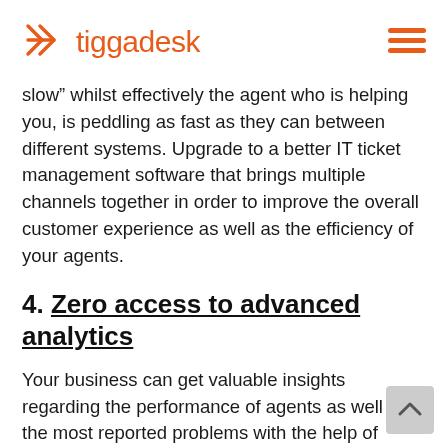tiggadesk
slow” whilst effectively the agent who is helping you, is peddling as fast as they can between different systems. Upgrade to a better IT ticket management software that brings multiple channels together in order to improve the overall customer experience as well as the efficiency of your agents.
4. Zero access to advanced analytics
Your business can get valuable insights regarding the performance of agents as well as the most reported problems with the help of properly structured processes, standardisation and advanced analytics. These are important tools when making business decisions: is that product as good as you thought or